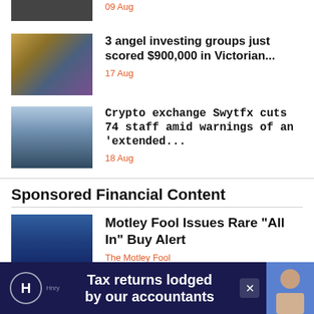[Figure (photo): Partial view of people at top of page]
09 Aug
[Figure (photo): Classical painting depicting religious or mythological figures]
3 angel investing groups just scored $900,000 in Victorian...
17 Aug
[Figure (photo): Man with glasses sitting at desk in modern office with city view]
Crypto exchange Swytfx cuts 74 staff amid warnings of an 'extended...
18 Aug
Sponsored Financial Content
[Figure (photo): Man in suit gesturing with blue financial data background]
Motley Fool Issues Rare "All In" Buy Alert
The Motley Fool
[Figure (photo): Advertisement banner: Tax returns lodged by our accountants - Hnry]
Tax returns lodged by our accountants